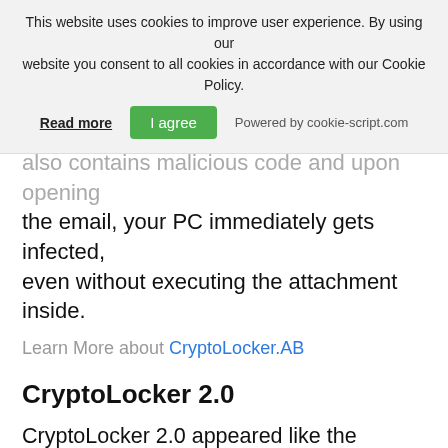This website uses cookies to improve user experience. By using our website you consent to all cookies in accordance with our Cookie Policy. Read more | I agree | Powered by cookie-script.com
also contains malicious code and upon opening the email, your PC immediately gets infected, even without executing the attachment inside.
Learn More about CryptoLocker.AB
CryptoLocker 2.0
CryptoLocker 2.0 appeared like the second version of CryptoLocker. Despite its name representing the ransomware as the second release of CryptoLocker, the differences in the code (when compared to the original piece) indicated it was a copycat. Some of the differences showing that it was indeed a pretender not a real version were the language the threat was programmed in (original in C++